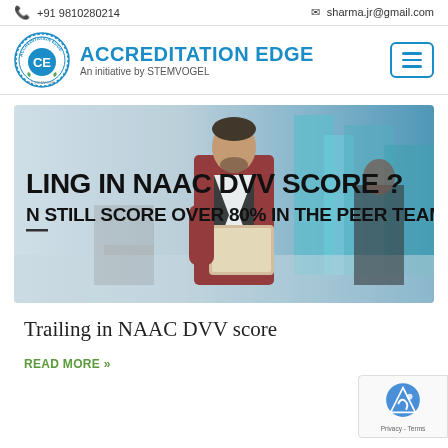+91 9810280214   sharma.jr@gmail.com
ACCREDITATION EDGE — An initiative by STEMVOGEL
[Figure (photo): Promotional banner showing a man in a red blazer holding a tablet, with text overlaid: 'LING IN NAAC DVV SCORE? N STILL SCORE OVER 80% IN THE PEER TEAM VISIT.']
Trailing in NAAC DVV score
READ MORE »